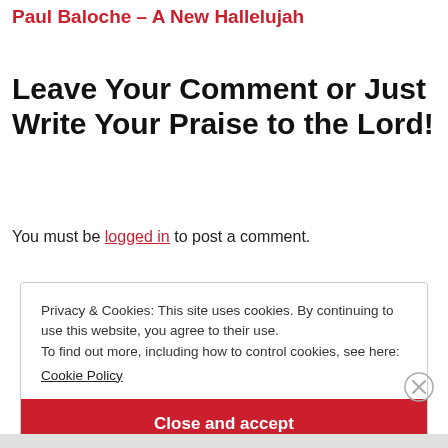Paul Baloche – A New Hallelujah
Leave Your Comment or Just Write Your Praise to the Lord!
You must be logged in to post a comment.
Privacy & Cookies: This site uses cookies. By continuing to use this website, you agree to their use.
To find out more, including how to control cookies, see here: Cookie Policy
Close and accept